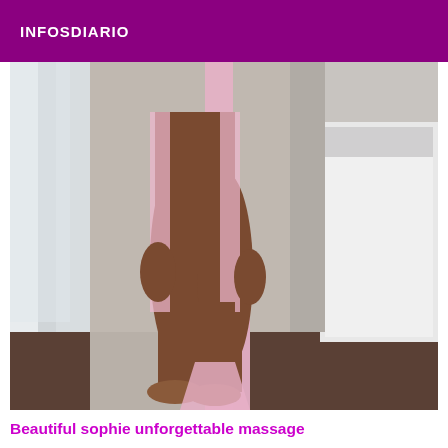INFOSDIARIO
[Figure (photo): A person standing in a room wearing a pink sheer robe/garment, barefoot on a tiled/carpeted floor, with a window with curtains on the left and a bed with white bedding on the right.]
Beautiful sophie unforgettable massage